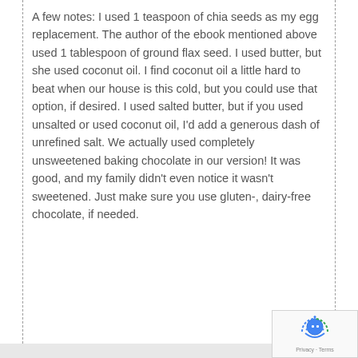A few notes: I used 1 teaspoon of chia seeds as my egg replacement. The author of the ebook mentioned above used 1 tablespoon of ground flax seed. I used butter, but she used coconut oil. I find coconut oil a little hard to beat when our house is this cold, but you could use that option, if desired. I used salted butter, but if you used unsalted or used coconut oil, I'd add a generous dash of unrefined salt. We actually used completely unsweetened baking chocolate in our version! It was good, and my family didn't even notice it wasn't sweetened. Just make sure you use gluten-, dairy-free chocolate, if needed.
[Figure (logo): reCAPTCHA badge with robot icon and Privacy + Terms text]